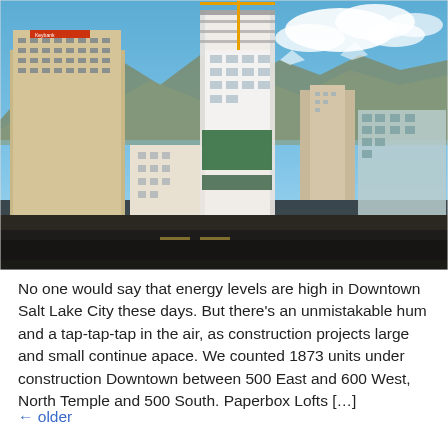[Figure (photo): Aerial/elevated view of Downtown Salt Lake City showing buildings under construction, including a tall partially-built skyscraper in the center, the Keybank building on the left, mountains in the background, and blue sky with clouds.]
No one would say that energy levels are high in Downtown Salt Lake City these days. But there's an unmistakable hum and a tap-tap-tap in the air, as construction projects large and small continue apace. We counted 1873 units under construction Downtown between 500 East and 600 West, North Temple and 500 South. Paperbox Lofts […]
← older